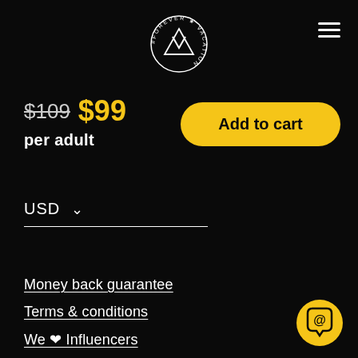#FOREVER VACATION logo and navigation
$109 $99 per adult
Add to cart
USD
Money back guarantee
Terms & conditions
We ♥ Influencers
Become an Affiliate
Responsible Travel